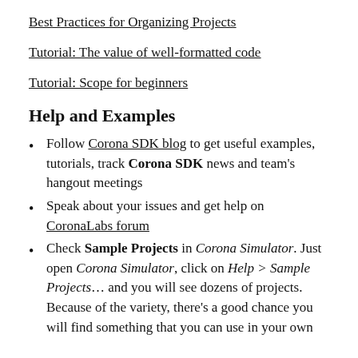Best Practices for Organizing Projects
Tutorial: The value of well-formatted code
Tutorial: Scope for beginners
Help and Examples
Follow Corona SDK blog to get useful examples, tutorials, track Corona SDK news and team's hangout meetings
Speak about your issues and get help on CoronaLabs forum
Check Sample Projects in Corona Simulator. Just open Corona Simulator, click on Help > Sample Projects... and you will see dozens of projects. Because of the variety, there's a good chance you will find something that you can use in your own